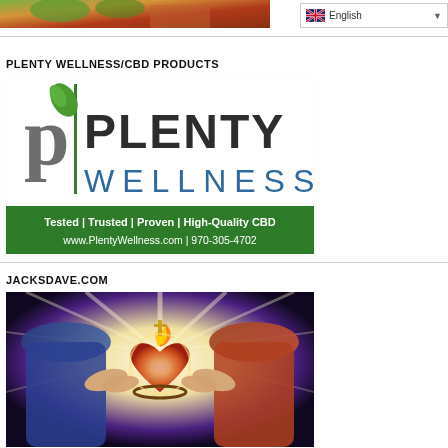[Figure (photo): Partial top image showing colorful outdoor scene with figures]
[Figure (screenshot): English language selector dropdown with UK flag icon]
PLENTY WELLNESS/CBD PRODUCTS
[Figure (logo): Plenty Wellness logo with green leaf P icon, 'PLENTY WELLNESS' text, and green banner reading 'Tested | Trusted | Proven | High-Quality CBD', 'www.PlentWellness.com | 970-305-4702']
JACKSDAVE.COM
[Figure (photo): Religious illustration showing two figures holding a glowing sacred heart with cross and crown of thorns, surrounded by rays of light]